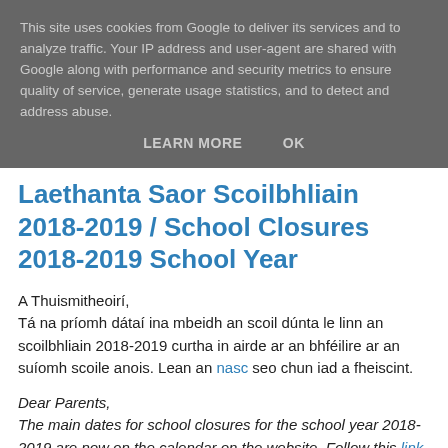This site uses cookies from Google to deliver its services and to analyze traffic. Your IP address and user-agent are shared with Google along with performance and security metrics to ensure quality of service, generate usage statistics, and to detect and address abuse.
LEARN MORE   OK
Laethanta Saor Scoilbhliain 2018-2019 / School Closures 2018-2019 School Year
A Thuismitheoirí,
Tá na príomh dátaí ina mbeidh an scoil dúnta le linn an scoilbhliain 2018-2019 curtha in airde ar an bhféilire ar an suíomh scoile anois. Lean an nasc seo chun iad a fheiscint.
Dear Parents,
The main dates for school closures for the school year 2018-2019 are now on the calendar on the website. Follow this link to view them.